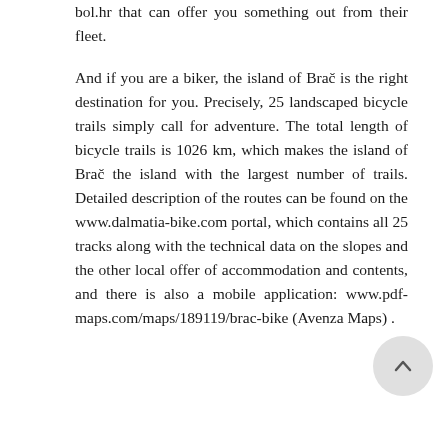bol.hr that can offer you something out from their fleet.
And if you are a biker, the island of Brač is the right destination for you. Precisely, 25 landscaped bicycle trails simply call for adventure. The total length of bicycle trails is 1026 km, which makes the island of Brač the island with the largest number of trails. Detailed description of the routes can be found on the www.dalmatia-bike.com portal, which contains all 25 tracks along with the technical data on the slopes and the other local offer of accommodation and contents, and there is also a mobile application: www.pdf-maps.com/maps/189119/brac-bike (Avenza Maps) .